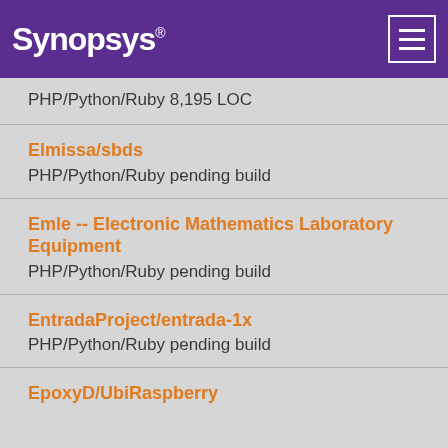SYNOPSYS®
PHP/Python/Ruby 8,195 LOC
Elmissa/sbds
PHP/Python/Ruby pending build
Emle -- Electronic Mathematics Laboratory Equipment
PHP/Python/Ruby pending build
EntradaProject/entrada-1x
PHP/Python/Ruby pending build
EpoxyD/UbiRaspberry